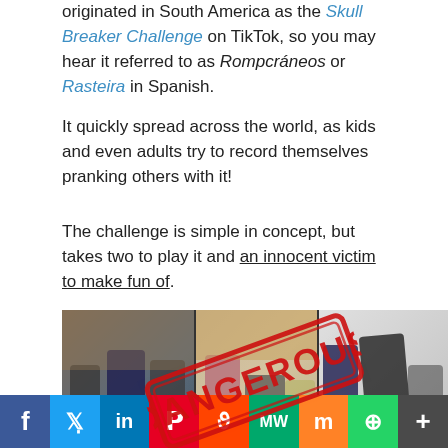originated in South America as the Skull Breaker Challenge on TikTok, so you may hear it referred to as Rompcráneos or Rasteira in Spanish.
It quickly spread across the world, as kids and even adults try to record themselves pranking others with it!
The challenge is simple in concept, but takes two to play it and an innocent victim to make fun of.
[Figure (photo): Three-panel photo strip showing people doing the Skull Breaker Challenge, with a red 'DANGEROUS' stamp overlaid diagonally across the center]
Social sharing bar: Facebook, Twitter, LinkedIn, Pinterest, Reddit, MW, Mix, WhatsApp, More